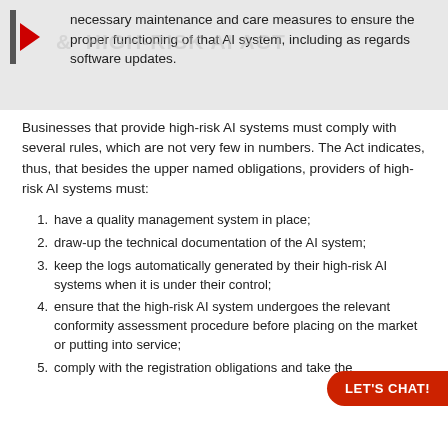necessary maintenance and care measures to ensure the proper functioning of that AI system, including as regards software updates.
Businesses that provide high-risk AI systems must comply with several rules, which are not very few in numbers. The Act indicates, thus, that besides the upper named obligations, providers of high-risk AI systems must:
have a quality management system in place;
draw-up the technical documentation of the AI system;
keep the logs automatically generated by their high-risk AI systems when it is under their control;
ensure that the high-risk AI system undergoes the relevant conformity assessment procedure before placing on the market or putting into service;
comply with the registration obligations and take the